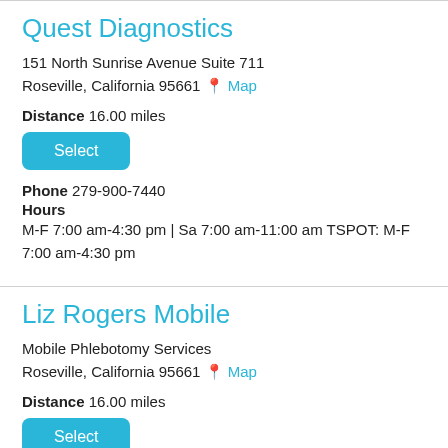Quest Diagnostics
151 North Sunrise Avenue Suite 711
Roseville, California 95661 📍 Map
Distance 16.00 miles
Select
Phone 279-900-7440
Hours
M-F 7:00 am-4:30 pm | Sa 7:00 am-11:00 am TSPOT: M-F 7:00 am-4:30 pm
Liz Rogers Mobile
Mobile Phlebotomy Services
Roseville, California 95661 📍 Map
Distance 16.00 miles
Select
Phone 916-759-1251